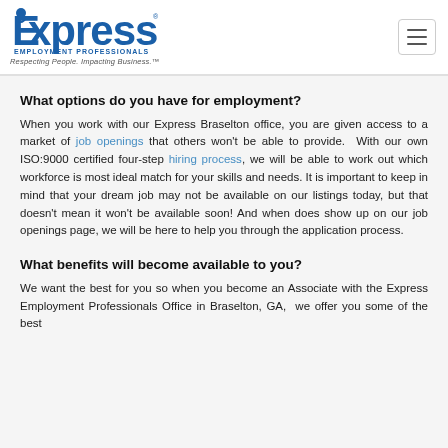Express Employment Professionals — Respecting People. Impacting Business.
What options do you have for employment?
When you work with our Express Braselton office, you are given access to a market of job openings that others won't be able to provide. With our own ISO:9000 certified four-step hiring process, we will be able to work out which workforce is most ideal match for your skills and needs. It is important to keep in mind that your dream job may not be available on our listings today, but that doesn't mean it won't be available soon! And when does show up on our job openings page, we will be here to help you through the application process.
What benefits will become available to you?
We want the best for you so when you become an Associate with the Express Employment Professionals Office in Braselton, GA, we offer you some of the best